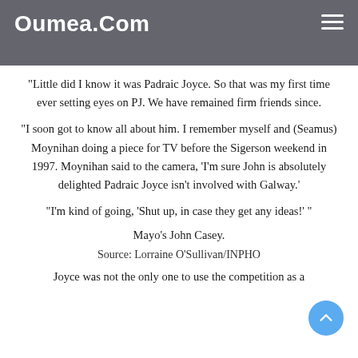Oumea.Com
“I remember being dropped off at this house, it was owned by a judge in Tralee. I walked in and all these fellas were waiting to see this Mayo fella. I’m looking around going, ‘Where the hell is Padraic Boyce?’
“Little did I know it was Padraic Joyce. So that was my first time ever setting eyes on PJ. We have remained firm friends since.
“I soon got to know all about him. I remember myself and (Seamus) Moynihan doing a piece for TV before the Sigerson weekend in 1997. Moynihan said to the camera, ‘I’m sure John is absolutely delighted Padraic Joyce isn’t involved with Galway.’
“I’m kind of going, ‘Shut up, in case they get any ideas!’ ”
Mayo’s John Casey.
Source: Lorraine O’Sullivan/INPHO
Joyce was not the only one to use the competition as a